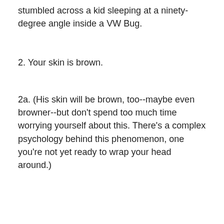stumbled across a kid sleeping at a ninety-degree angle inside a VW Bug.
2. Your skin is brown.
2a. (His skin will be brown, too--maybe even browner--but don't spend too much time worrying yourself about this. There's a complex psychology behind this phenomenon, one you're not yet ready to wrap your head around.)